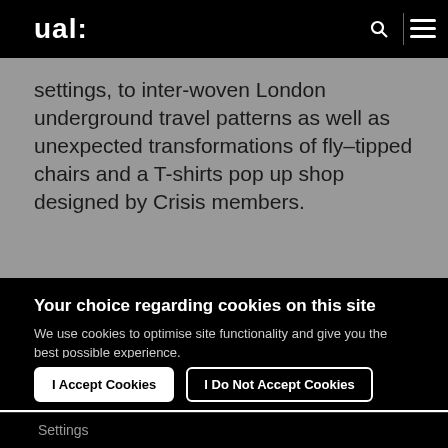ual:
settings, to inter-woven London underground travel patterns as well as unexpected transformations of fly–tipped chairs and a T-shirts pop up shop designed by Crisis members.
Your choice regarding cookies on this site
We use cookies to optimise site functionality and give you the best possible experience.
I Accept Cookies
I Do Not Accept Cookies
Settings